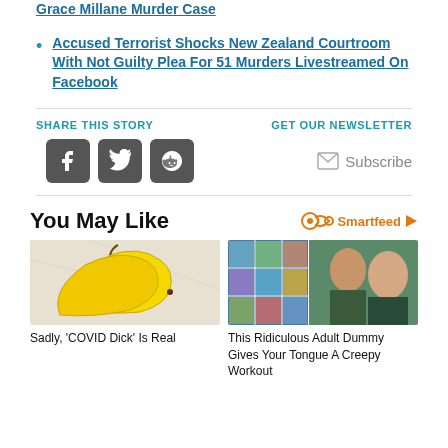Grace Millane Murder Case
Accused Terrorist Shocks New Zealand Courtroom With Not Guilty Plea For 51 Murders Livestreamed On Facebook
SHARE THIS STORY
GET OUR NEWSLETTER
[Figure (infographic): Social share icons: Facebook, Twitter, Reddit]
Subscribe
You May Like
[Figure (logo): Smartfeed logo with infinity-like icon and orange play button]
[Figure (photo): Two yellow bananas on white marble surface]
Sadly, 'COVID Dick' Is Real
[Figure (photo): Collage of beach photos on left and two women in bikinis on right]
This Ridiculous Adult Dummy Gives Your Tongue A Creepy Workout